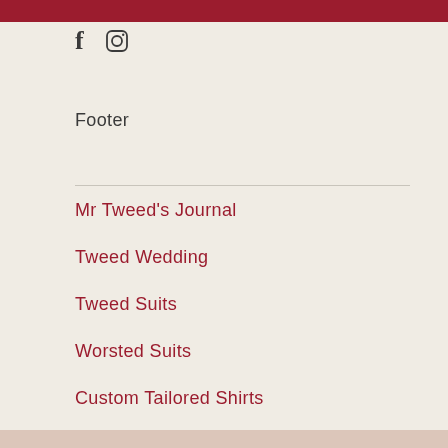[Figure (other): Dark red/crimson top bar button area (Sign up button partial)]
[Figure (other): Social media icons: Facebook (f) and Instagram (camera icon)]
Footer
Mr Tweed's Journal
Tweed Wedding
Tweed Suits
Worsted Suits
Custom Tailored Shirts